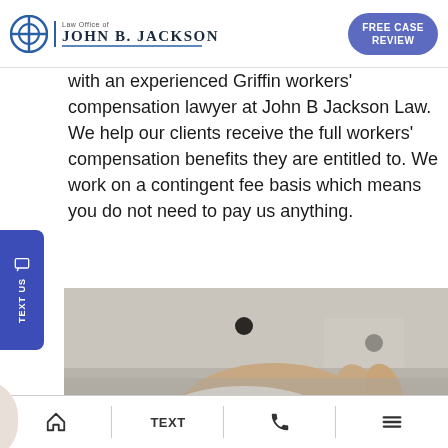Law Office of John B. Jackson | FREE CASE REVIEW
with an experienced Griffin workers' compensation lawyer at John B Jackson Law. We help our clients receive the full workers' compensation benefits they are entitled to. We work on a contingent fee basis which means you do not need to pay us anything.
[Figure (photo): Close-up photograph of a worker's bandaged hand wearing a white work uniform/jacket, showing white bandage wrapping around the hand and fingers]
Home | TEXT | Phone | Menu